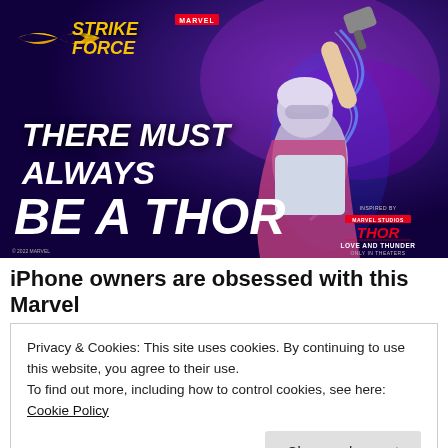[Figure (illustration): Marvel Strike Force promotional banner featuring Mighty Thor (Jane Foster) swinging Mjolnir with lightning effects. Text reads 'THERE MUST ALWAYS BE A THOR'. Inspired by Marvel Studios Thor: Love and Thunder. © 2022 MARVEL.]
iPhone owners are obsessed with this Marvel
Privacy & Cookies: This site uses cookies. By continuing to use this website, you agree to their use.
To find out more, including how to control cookies, see here: Cookie Policy
Close and accept